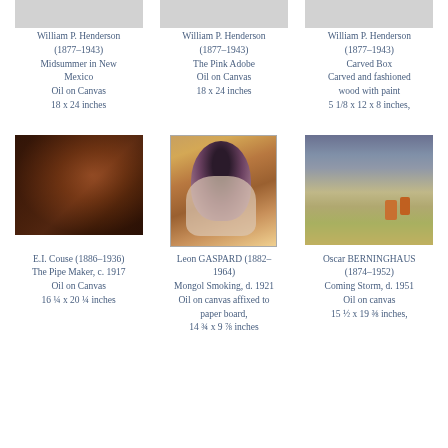[Figure (photo): Painting placeholder top row left - William P. Henderson Midsummer in New Mexico]
William P. Henderson (1877–1943)
Midsummer in New Mexico
Oil on Canvas
18 x 24 inches
[Figure (photo): Painting placeholder top row center - William P. Henderson The Pink Adobe]
William P. Henderson (1877–1943)
The Pink Adobe
Oil on Canvas
18 x 24 inches
[Figure (photo): Painting placeholder top row right - William P. Henderson Carved Box]
William P. Henderson (1877–1943)
Carved Box
Carved and fashioned wood with paint
5 1/8 x 12 x 8 inches,
[Figure (photo): Dark oil painting of Native American figure - E.I. Couse The Pipe Maker c. 1917]
E.I. Couse (1886–1936)
The Pipe Maker, c. 1917
Oil on Canvas
16 ¼ x 20 ¼ inches
[Figure (photo): Portrait of person with black feathered hat - Leon Gaspard Mongol Smoking d. 1921]
Leon GASPARD (1882–1964)
Mongol Smoking, d. 1921
Oil on canvas affixed to paper board,
14 ¾ x 9 ⅞ inches
[Figure (photo): Landscape painting with stormy sky and riders - Oscar Berninghaus Coming Storm d. 1951]
Oscar BERNINGHAUS (1874–1952)
Coming Storm, d. 1951
Oil on canvas
15 ½ x 19 ⅜ inches,